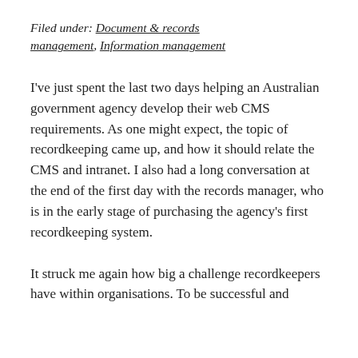Filed under: Document & records management, Information management
I've just spent the last two days helping an Australian government agency develop their web CMS requirements. As one might expect, the topic of recordkeeping came up, and how it should relate the CMS and intranet. I also had a long conversation at the end of the first day with the records manager, who is in the early stage of purchasing the agency's first recordkeeping system.
It struck me again how big a challenge recordkeepers have within organisations. To be successful and